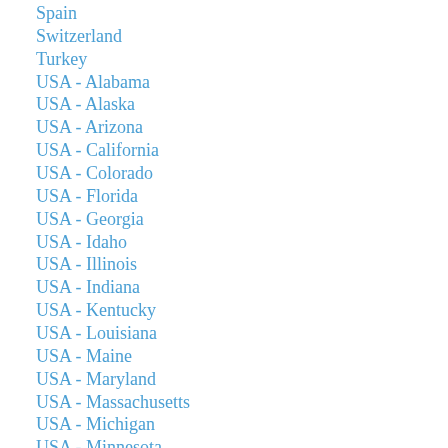Spain
Switzerland
Turkey
USA - Alabama
USA - Alaska
USA - Arizona
USA - California
USA - Colorado
USA - Florida
USA - Georgia
USA - Idaho
USA - Illinois
USA - Indiana
USA - Kentucky
USA - Louisiana
USA - Maine
USA - Maryland
USA - Massachusetts
USA - Michigan
USA - Minnesota
USA - Mississippi